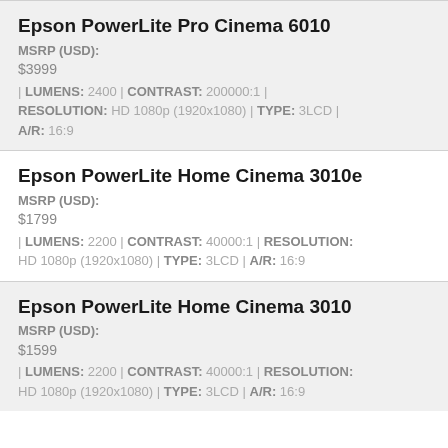Epson PowerLite Pro Cinema 6010
MSRP (USD):
$3999
| LUMENS: 2400 | CONTRAST: 200000:1 | RESOLUTION: HD 1080p (1920x1080) | TYPE: 3LCD | A/R: 16:9
Epson PowerLite Home Cinema 3010e
MSRP (USD):
$1799
| LUMENS: 2200 | CONTRAST: 40000:1 | RESOLUTION: HD 1080p (1920x1080) | TYPE: 3LCD | A/R: 16:9
Epson PowerLite Home Cinema 3010
MSRP (USD):
$1599
| LUMENS: 2200 | CONTRAST: 40000:1 | RESOLUTION: HD 1080p (1920x1080) | TYPE: 3LCD | A/R: 16:9